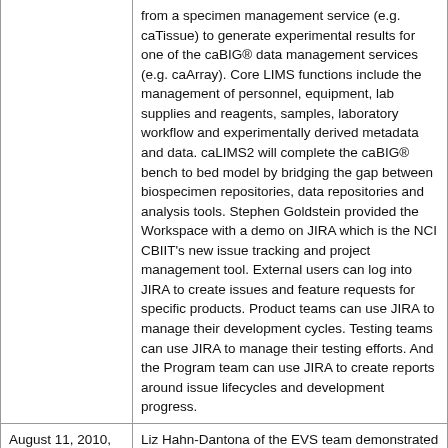| Date | Description |
| --- | --- |
|  | from a specimen management service (e.g. caTissue) to generate experimental results for one of the caBIG® data management services (e.g. caArray). Core LIMS functions include the management of personnel, equipment, lab supplies and reagents, samples, laboratory workflow and experimentally derived metadata and data. caLIMS2 will complete the caBIG® bench to bed model by bridging the gap between biospecimen repositories, data repositories and analysis tools. Stephen Goldstein provided the Workspace with a demo on JIRA which is the NCI CBIIT's new issue tracking and project management tool. External users can log into JIRA to create issues and feature requests for specific products. Product teams can use JIRA to manage their development cycles. Testing teams can use JIRA to manage their testing efforts. And the Program team can use JIRA to create reports around issue lifecycles and development progress. |
| August 11, 2010, 2-4 PM Eastern | Liz Hahn-Dantona of the EVS team demonstrated how to access and use the NCI term browser, NCI thesaurus and NCI Metathesaurus. She described content in various tabs and pointed out features of |